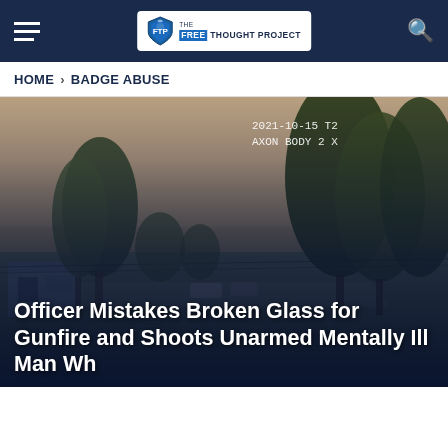THE FREE THOUGHT PROJECT — Navigation bar with hamburger menu and search icon
HOME > BADGE ABUSE
[Figure (photo): Body camera footage (AXON BODY 2) dated 2021-10-15, showing a residential street scene with tall trees, green lawn, a small building on the left, overcast sky. White timestamp overlay in upper right reads: 2021-10-15 T2... / AXON BODY 2 X...]
Officer Mistakes Broken Glass for Gunfire and Shoots Unarmed Mentally Ill Man Wh...